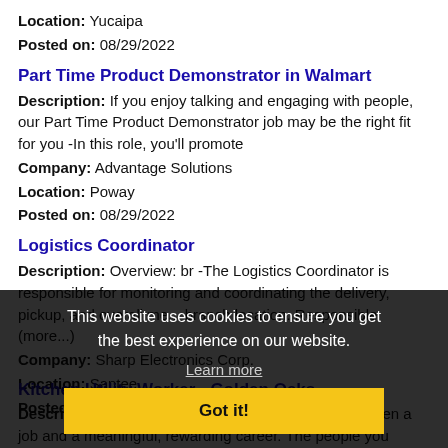Location: Yucaipa
Posted on: 08/29/2022
Part Time Product Demonstrator in Walmart
Description: If you enjoy talking and engaging with people, our Part Time Product Demonstrator job may be the right fit for you -In this role, you'll promote
Company: Advantage Solutions
Location: Poway
Posted on: 08/29/2022
Logistics Coordinator
Description: Overview: br -The Logistics Coordinator is responsible for monitoring and coordinating the delivery, pickup, and overall me... branch location. Responsible (more...)
Company: Sharp Electronics Corp.
Location: Santee
Posted on: 08/29/2022
Kitchen Utility Worker - Golden Oaks
Description: Overview: br What's the difference between a job and a meaningful, rewarding career. The people you serve. When you work at Atria, you have a front-row seat to the amazing life stories